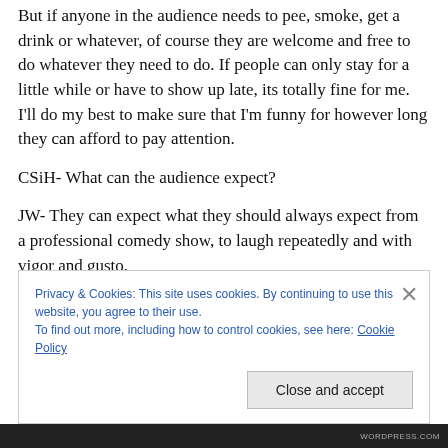But if anyone in the audience needs to pee, smoke, get a drink or whatever, of course they are welcome and free to do whatever they need to do. If people can only stay for a little while or have to show up late, its totally fine for me. I'll do my best to make sure that I'm funny for however long they can afford to pay attention.
CSiH- What can the audience expect?
JW- They can expect what they should always expect from a professional comedy show, to laugh repeatedly and with vigor and gusto.
Privacy & Cookies: This site uses cookies. By continuing to use this website, you agree to their use.
To find out more, including how to control cookies, see here: Cookie Policy
Close and accept